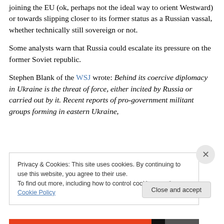joining the EU (ok, perhaps not the ideal way to orient Westward) or towards slipping closer to its former status as a Russian vassal, whether technically still sovereign or not.
Some analysts warn that Russia could escalate its pressure on the former Soviet republic.
Stephen Blank of the WSJ wrote: Behind its coercive diplomacy in Ukraine is the threat of force, either incited by Russia or carried out by it. Recent reports of pro-government militant groups forming in eastern Ukraine,
Privacy & Cookies: This site uses cookies. By continuing to use this website, you agree to their use.
To find out more, including how to control cookies, see here: Cookie Policy